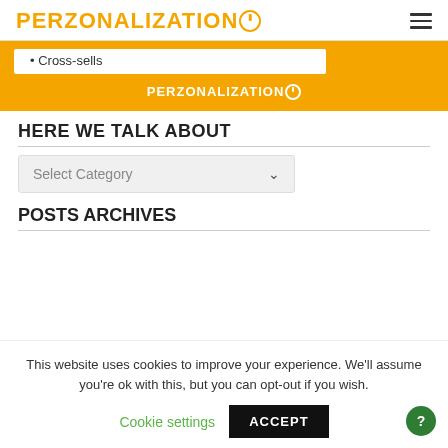PERZONALIZATION
Cross-sells
[Figure (logo): PERZONALIZATION logo on orange banner background]
HERE WE TALK ABOUT
Select Category
POSTS ARCHIVES
This website uses cookies to improve your experience. We'll assume you're ok with this, but you can opt-out if you wish.
Cookie settings   ACCEPT